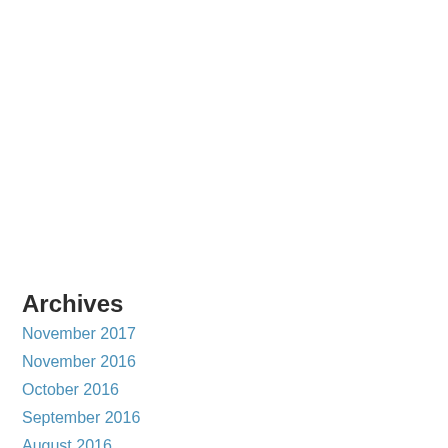Archives
November 2017
November 2016
October 2016
September 2016
August 2016
July 2016